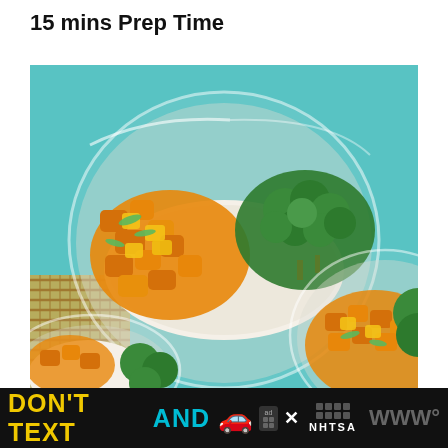15 mins Prep Time
[Figure (photo): Overhead view of glass bowls containing rice, orange-sauced chicken pieces with pineapple, broccoli florets, and green onion garnish on a teal background with a bamboo mat visible]
[Figure (other): Advertisement banner: DON'T TEXT AND [car emoji] with ad badge and NHTSA logo]